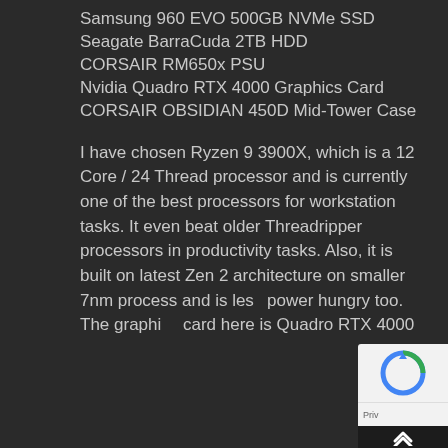Samsung 960 EVO 500GB NVMe SSD
Seagate BarraCuda 2TB HDD
CORSAIR RM650x PSU
Nvidia Quadro RTX 4000 Graphics Card
CORSAIR OBSIDIAN 450D Mid-Tower Case
I have chosen Ryzen 9 3900X, which is a 12 Core / 24 Thread processor and is currently one of the best processors for workstation tasks. It even beat older Threadripper processors in productivity tasks. Also, it is built on latest Zen 2 architecture on smaller 7nm process and is less power hungry too. The graphics card here is Quadro RTX 4000